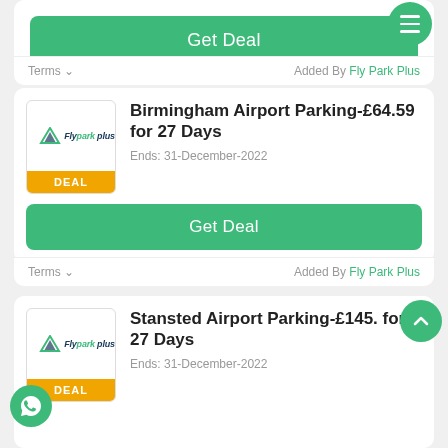[Figure (screenshot): Top portion of a deal card with a green 'Get Deal' button and a hamburger menu icon in a green circle]
Terms ∨   Added By Fly Park Plus
Birmingham Airport Parking-£64.59 for 27 Days
Ends: 31-December-2022
Get Deal
Terms ∨   Added By Fly Park Plus
Stansted Airport Parking-£145. for 27 Days
Ends: 31-December-2022